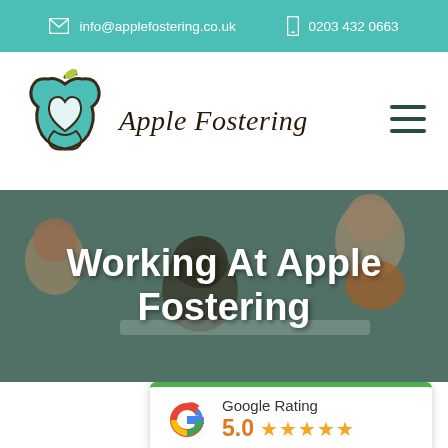info@applefostering.co.uk   0203 432 0663
[Figure (logo): Apple Fostering logo — teal apple with heart inside and leaf on top, with text 'Apple Fostering' in cursive brown script]
Working At Apple Fostering
[Figure (other): Google Rating widget showing 5.0 stars with Google 'G' logo and green top border]